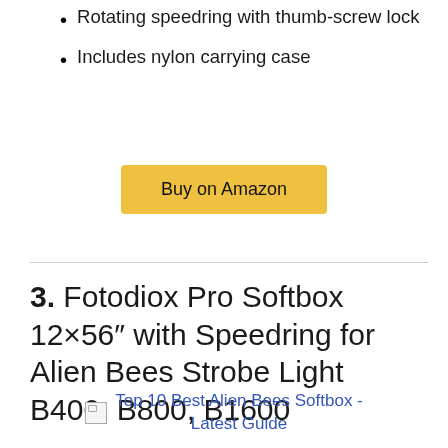Rotating speedring with thumb-screw lock
Includes nylon carrying case
[Figure (other): Buy on Amazon button]
3. Fotodiox Pro Softbox 12×56″ with Speedring for Alien Bees Strobe Light B400, B800, B1600
Top 10 Best Alien Bees Softbox - Latest Guide